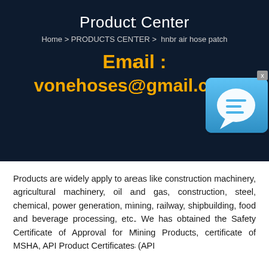Product Center
Home > PRODUCTS CENTER >  hnbr air hose patch
Email :
vonehoses@gmail.com
[Figure (illustration): Chat widget icon — a blue rounded square with a white speech bubble icon and a small 'x' close button in the top right corner]
Products are widely apply to areas like construction machinery, agricultural machinery, oil and gas, construction, steel, chemical, power generation, mining, railway, shipbuilding, food and beverage processing, etc. We has obtained the Safety Certificate of Approval for Mining Products, certificate of MSHA, API Product Certificates (API